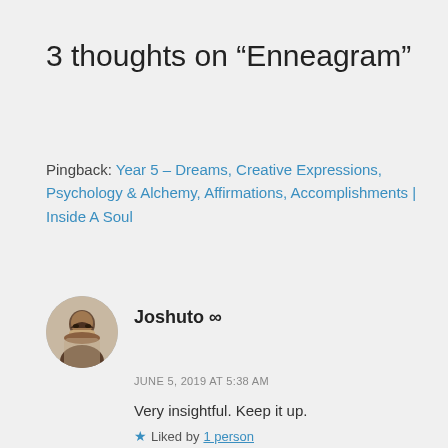3 thoughts on “Enneagram”
Pingback: Year 5 – Dreams, Creative Expressions, Psychology & Alchemy, Affirmations, Accomplishments | Inside A Soul
Joshuto ∞
JUNE 5, 2019 AT 5:38 AM
Very insightful. Keep it up.
★ Liked by 1 person